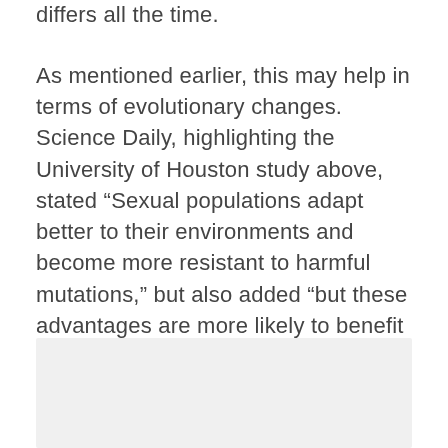differs all the time.
As mentioned earlier, this may help in terms of evolutionary changes. Science Daily, highlighting the University of Houston study above, stated “Sexual populations adapt better to their environments and become more resistant to harmful mutations,” but also added “but these advantages are more likely to benefit our natural enemies.”
[Figure (other): Gray rectangular image placeholder at the bottom of the page]